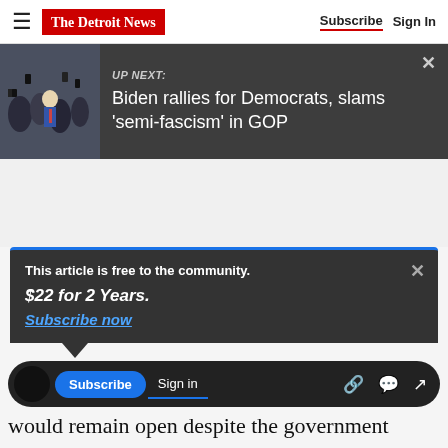The Detroit News — Subscribe | Sign In
[Figure (screenshot): UP NEXT: Biden rallies for Democrats, slams 'semi-fascism' in GOP — news promo bar with a photo of Biden in a crowd]
[Figure (other): Advertisement/gray space]
This article is free to the community.
$22 for 2 Years.
Subscribe now
would remain open despite the government